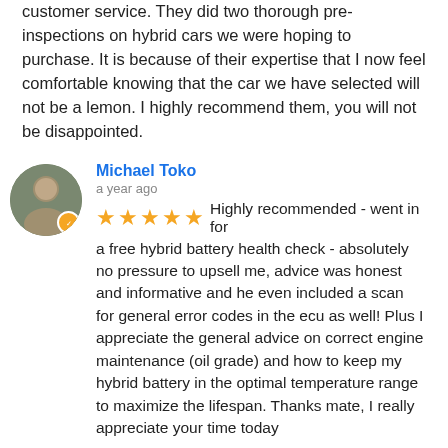customer service. They did two thorough pre-inspections on hybrid cars we were hoping to purchase. It is because of their expertise that I now feel comfortable knowing that the car we have selected will not be a lemon. I highly recommend them, you will not be disappointed.
Michael Toko
a year ago
Highly recommended - went in for a free hybrid battery health check - absolutely no pressure to upsell me, advice was honest and informative and he even included a scan for general error codes in the ecu as well! Plus I appreciate the general advice on correct engine maintenance (oil grade) and how to keep my hybrid battery in the optimal temperature range to maximize the lifespan. Thanks mate, I really appreciate your time today
Kamal Bani
a year ago
I went to hybrid core to get my Toyota Prius hybrid system checked, as I had engine